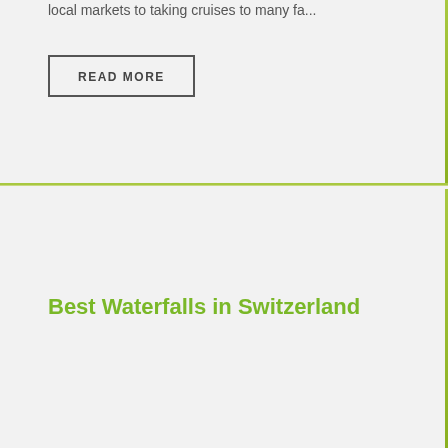local markets to taking cruises to many fa...
READ MORE
Best Waterfalls in Switzerland